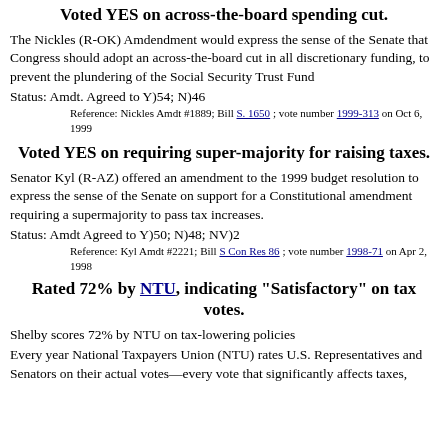Voted YES on across-the-board spending cut.
The Nickles (R-OK) Amdendment would express the sense of the Senate that Congress should adopt an across-the-board cut in all discretionary funding, to prevent the plundering of the Social Security Trust Fund
Status: Amdt. Agreed to Y)54; N)46
Reference: Nickles Amdt #1889; Bill S. 1650 ; vote number 1999-313 on Oct 6, 1999
Voted YES on requiring super-majority for raising taxes.
Senator Kyl (R-AZ) offered an amendment to the 1999 budget resolution to express the sense of the Senate on support for a Constitutional amendment requiring a supermajority to pass tax increases.
Status: Amdt Agreed to Y)50; N)48; NV)2
Reference: Kyl Amdt #2221; Bill S Con Res 86 ; vote number 1998-71 on Apr 2, 1998
Rated 72% by NTU, indicating "Satisfactory" on tax votes.
Shelby scores 72% by NTU on tax-lowering policies
Every year National Taxpayers Union (NTU) rates U.S. Representatives and Senators on their actual votes—every vote that significantly affects taxes,